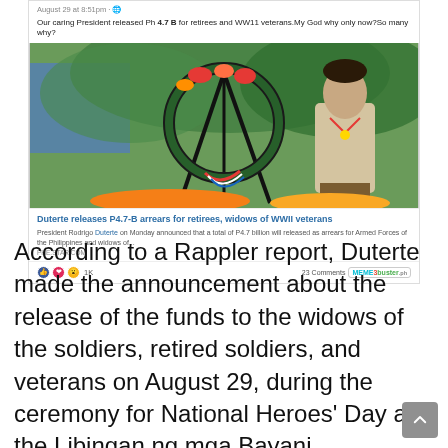[Figure (screenshot): Facebook post screenshot showing a user comment and a shared news article about Duterte releasing P4.7B arrears for retirees and WWII veterans, with a photo of a man in barong bowing before a wreath, reactions (1K), and 23 Comments. MemesBuster.ph watermark visible.]
According to a Rappler report, Duterte made the announcement about the release of the funds to the widows of the soldiers, retired soldiers, and veterans on August 29, during the ceremony for National Heroes' Day at the Libingan ng mga Bayani.